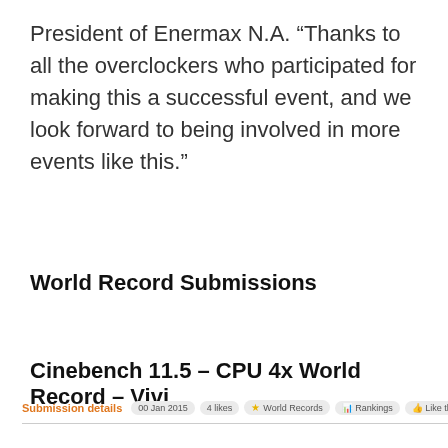President of Enermax N.A. “Thanks to all the overclockers who participated for making this a successful event, and we look forward to being involved in more events like this.”
World Record Submissions
Cinebench 11.5 – CPU 4x World Record – Vivi
Submission details  00 Jan 2015  4 likes  World Records  Rankings  Like this